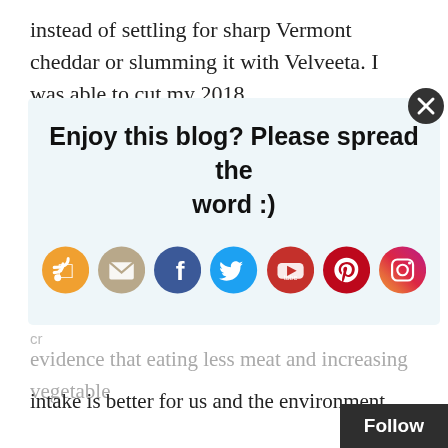instead of settling for sharp Vermont cheddar or slumming it with Velveeta. I was able to cut my 2018
[Figure (infographic): Social sharing popup overlay with title 'Enjoy this blog? Please spread the word :)' and seven social media icon buttons: RSS (orange), Email (tan), Facebook (dark blue), Twitter (light blue), YouTube (red), Pinterest (red), Instagram (purple gradient). A close button (X) appears in top right corner.]
evidence that eating less meat and increasing vegetable intake is better for us and the environment.
Additionally, I love pigs and cows too damn much. Growing up in a Polish household, pork and beef were daily staples. At this stage in my life, I feel too much guilt consuming these beautiful intelligent animals.
Something has to give. Don't get me wrong, I love to eat bacon, but there has to be a way for me to feel go